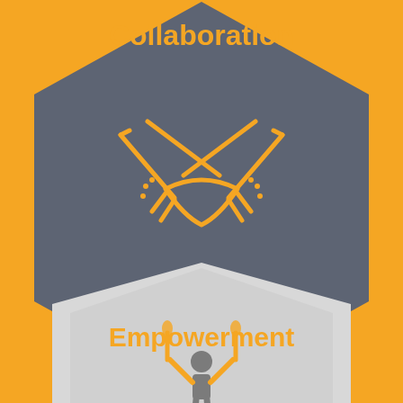[Figure (infographic): Two hexagonal infographic panels stacked vertically on an orange background. Top hexagon is dark gray with orange 'Collaboration' text and a handshake icon. Bottom hexagon is light gray with orange 'Empowerment' text and a person with raised arms icon.]